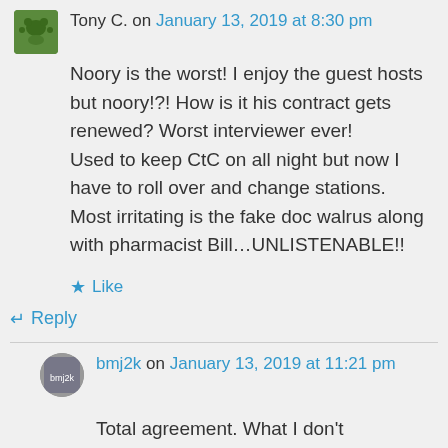Tony C. on January 13, 2019 at 8:30 pm
Noory is the worst! I enjoy the guest hosts but noory!?! How is it his contract gets renewed? Worst interviewer ever! Used to keep CtC on all night but now I have to roll over and change stations. Most irritating is the fake doc walrus along with pharmacist Bill…UNLISTENABLE!!
Like
Reply
bmj2k on January 13, 2019 at 11:21 pm
Total agreement. What I don't